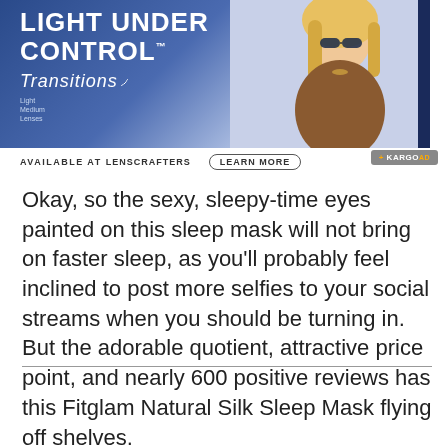[Figure (photo): Transitions Lenses advertisement banner showing a blonde woman wearing sunglasses, with text 'LIGHT UNDER CONTROL' and 'Transitions' logo on a blue gradient background. Available at LensCrafters with a Learn More button.]
Okay, so the sexy, sleepy-time eyes painted on this sleep mask will not bring on faster sleep, as you'll probably feel inclined to post more selfies to your social streams when you should be turning in. But the adorable quotient, attractive price point, and nearly 600 positive reviews has this Fitglam Natural Silk Sleep Mask flying off shelves.